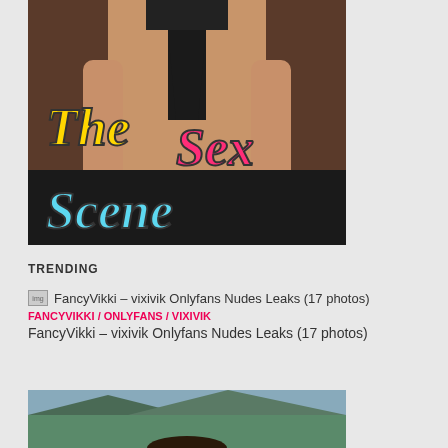[Figure (photo): Website banner image showing 'The Sex Scene' logo text overlay on a photo background. 'The' in yellow, 'Sex' in pink/magenta, 'Scene' in light blue, all with bold stylized lettering.]
TRENDING
[Figure (photo): Small thumbnail image placeholder for FancyVikki article]
FancyVikki – vixivik Onlyfans Nudes Leaks (17 photos)
FANCYVIKKI / ONLYFANS / VIXIVIK
FancyVikki – vixivik Onlyfans Nudes Leaks (17 photos)
[Figure (photo): Partial bottom image, appears to show a person outdoors with landscape background]